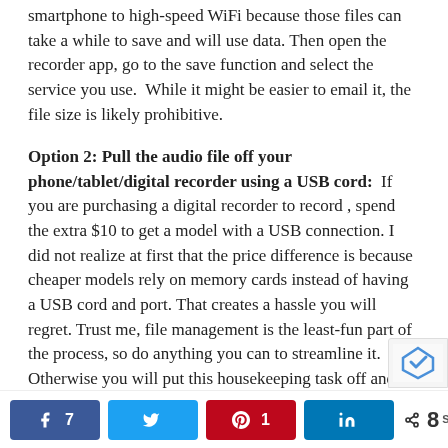smartphone to high-speed WiFi because those files can take a while to save and will use data. Then open the recorder app, go to the save function and select the service you use.  While it might be easier to email it, the file size is likely prohibitive.
Option 2: Pull the audio file off your phone/tablet/digital recorder using a USB cord: If you are purchasing a digital recorder to record , spend the extra $10 to get a model with a USB connection. I did not realize at first that the price difference is because cheaper models rely on memory cards instead of having a USB cord and port. That creates a hassle you will regret. Trust me, file management is the least-fun part of the process, so do anything you can to streamline it. Otherwise you will put this housekeeping task off and risk losing the audio altogether.